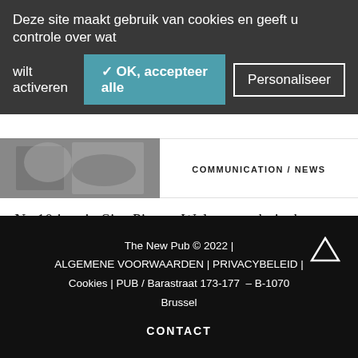Deze site maakt gebruik van cookies en geeft u controle over wat wilt activeren
✓ OK, accepteer alle
Personaliseer
[Figure (photo): Grayscale photo strip with COMMUNICATION / NEWS label on right side]
Na 10 jaar in Sint-Pieters-Woluwe verhuist het ACC-team naar Zaventem, waar men een [...]
READ MORE
The New Pub © 2022 | ALGEMENE VOORWAARDEN | PRIVACYBELEID | Cookies | PUB / Barastraat 173-177 – B-1070 Brussel
CONTACT